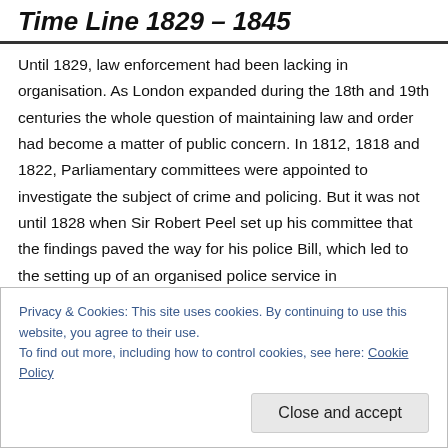Time Line 1829 – 1845
Until 1829, law enforcement had been lacking in organisation. As London expanded during the 18th and 19th centuries the whole question of maintaining law and order had become a matter of public concern. In 1812, 1818 and 1822, Parliamentary committees were appointed to investigate the subject of crime and policing. But it was not until 1828 when Sir Robert Peel set up his committee that the findings paved the way for his police Bill, which led to the setting up of an organised police service in
Privacy & Cookies: This site uses cookies. By continuing to use this website, you agree to their use.
To find out more, including how to control cookies, see here: Cookie Policy
Close and accept